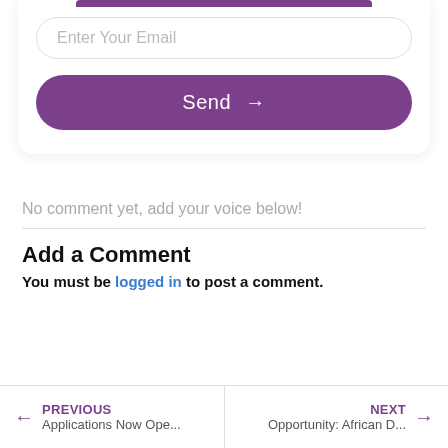[Figure (screenshot): Email input field with placeholder 'Enter Your Email' partially visible at top, with a purple top bar above it, inside a card]
Send →
No comment yet, add your voice below!
Add a Comment
You must be logged in to post a comment.
← PREVIOUS Applications Now Ope... | NEXT → Opportunity: African D...